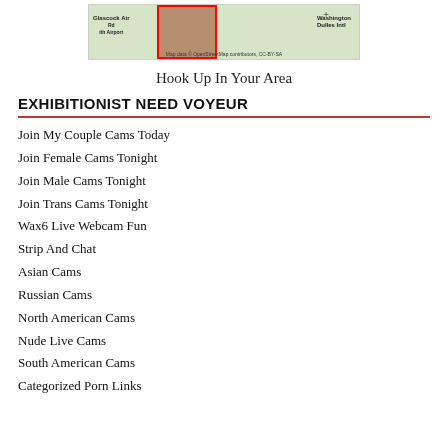[Figure (map): Map showing area near Glascock Airport and Washington Dulles Intl, with a red-boxed photo overlay of a person. Map data from OpenStreetMap contributors, CC-BY-SA.]
Hook Up In Your Area
EXHIBITIONIST NEED VOYEUR
Join My Couple Cams Today
Join Female Cams Tonight
Join Male Cams Tonight
Join Trans Cams Tonight
Wax6 Live Webcam Fun
Strip And Chat
Asian Cams
Russian Cams
North American Cams
Nude Live Cams
South American Cams
Categorized Porn Links